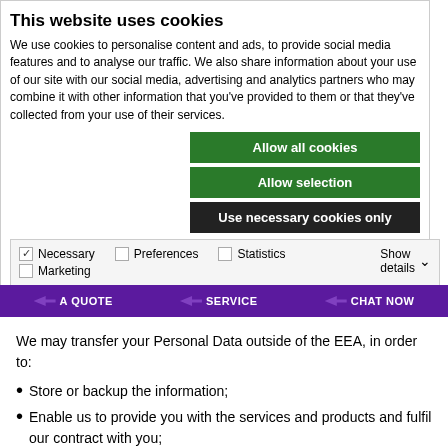This website uses cookies
We use cookies to personalise content and ads, to provide social media features and to analyse our traffic. We also share information about your use of our site with our social media, advertising and analytics partners who may combine it with other information that you've provided to them or that they've collected from your use of their services.
[Figure (screenshot): Cookie consent buttons: 'Allow all cookies' (green), 'Allow selection' (green), 'Use necessary cookies only' (dark/black)]
[Figure (screenshot): Cookie category checkboxes: Necessary (checked), Preferences (unchecked), Statistics (unchecked), Marketing (unchecked), with Show details dropdown]
[Figure (screenshot): Purple navigation bar with icons and text: A QUOTE, SERVICE, CHAT NOW]
We may transfer your Personal Data outside of the EEA, in order to:
Store or backup the information;
Enable us to provide you with the services and products and fulfil our contract with you;